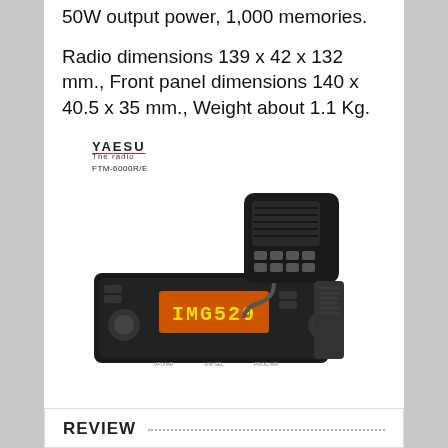50W output power, 1,000 memories.
Radio dimensions 139 x 42 x 132 mm., Front panel dimensions 140 x 40.5 x 35 mm., Weight about 1.1 Kg.
[Figure (photo): Yaesu FTM-6000R/E mobile transceiver radio unit with microphone and main body unit shown, featuring orange LCD display]
REVIEW